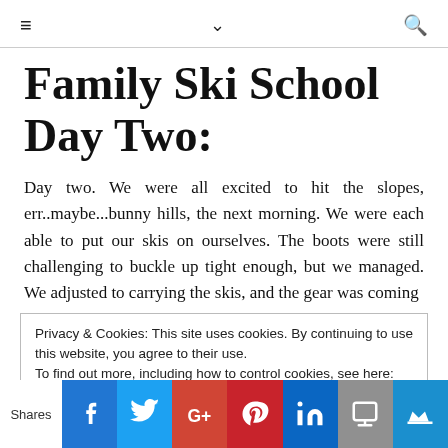≡  ∨  🔍
Family Ski School Day Two:
Day two. We were all excited to hit the slopes, err..maybe...bunny hills, the next morning. We were each able to put our skis on ourselves. The boots were still challenging to buckle up tight enough, but we managed. We adjusted to carrying the skis, and the gear was coming
Privacy & Cookies: This site uses cookies. By continuing to use this website, you agree to their use.
To find out more, including how to control cookies, see here: Cookie Policy
Shares | Facebook | Twitter | Google+ | Pinterest | LinkedIn | Print | Crown